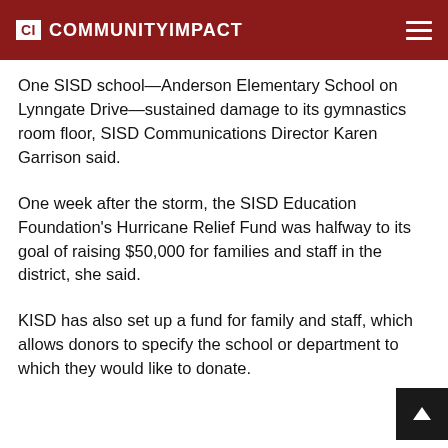CI COMMUNITYIMPACT
One SISD school—Anderson Elementary School on Lynngate Drive—sustained damage to its gymnastics room floor, SISD Communications Director Karen Garrison said.
One week after the storm, the SISD Education Foundation's Hurricane Relief Fund was halfway to its goal of raising $50,000 for families and staff in the district, she said.
KISD has also set up a fund for family and staff, which allows donors to specify the school or department to which they would like to donate.